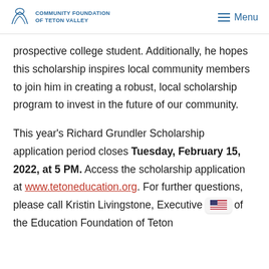COMMUNITY FOUNDATION OF TETON VALLEY | Menu
prospective college student. Additionally, he hopes this scholarship inspires local community members to join him in creating a robust, local scholarship program to invest in the future of our community.
This year’s Richard Grundler Scholarship application period closes Tuesday, February 15, 2022, at 5 PM. Access the scholarship application at www.tetoneducation.org. For further questions, please call Kristin Livingstone, Executive Director of the Education Foundation of Teton